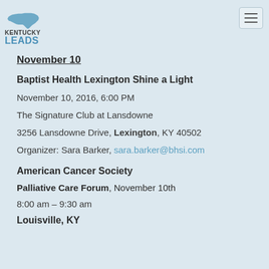[Figure (logo): Kentucky LEADS logo with state outline in blue and text 'KENTUCKY LEADS']
November 10
Baptist Health Lexington Shine a Light
November 10, 2016, 6:00 PM
The Signature Club at Lansdowne
3256 Lansdowne Drive, Lexington, KY 40502
Organizer: Sara Barker, sara.barker@bhsi.com
American Cancer Society
Palliative Care Forum, November 10th
8:00 am – 9:30 am
Louisville, KY